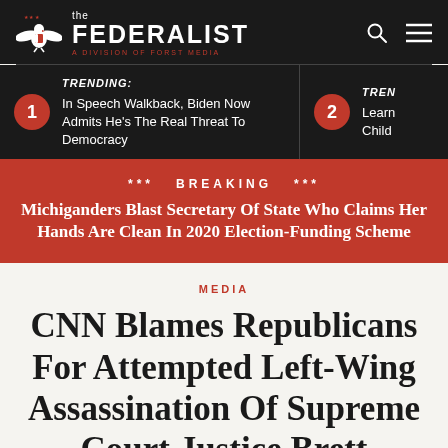the FEDERALIST A DIVISION OF FORST MEDIA
TRENDING: In Speech Walkback, Biden Now Admits He's The Real Threat To Democracy
TREN... Learn... Child...
*** BREAKING *** Michiganders Blast Secretary Of State Who Claims Her Hands Are Clean In 2020 Election-Funding Scheme
MEDIA
CNN Blames Republicans For Attempted Left-Wing Assassination Of Supreme Court Justice Brett Kavanaugh